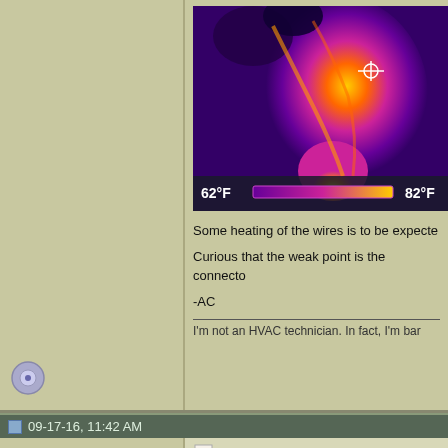[Figure (photo): Thermal infrared image showing wires/connector with heat colors ranging from purple/blue (cool) to orange/yellow (hot). Temperature scale bar at bottom showing 62°F to 82°F range.]
Some heating of the wires is to be expecte[d]
Curious that the weak point is the connecto[r]
-AC
I'm not an HVAC technician. In fact, I'm bar[ely...]
09-17-16, 11:42 AM
oil pan 4
Land owner
Join Date: Nov 2012
Location: NM
Posts: 1,025
Oh yes the plug and receptacle connection[s]... I use the decent $2 each receptacles (not t[he cheap ones]) connectors, I strip the wire, hook it and sec[ure it]